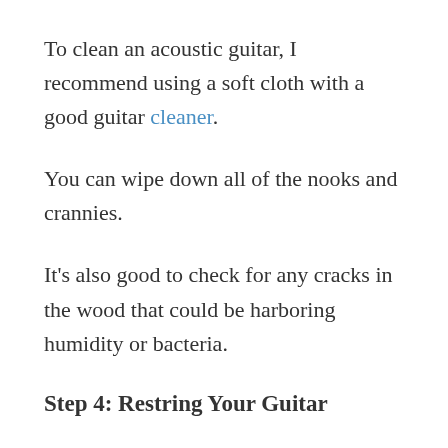To clean an acoustic guitar, I recommend using a soft cloth with a good guitar cleaner.
You can wipe down all of the nooks and crannies.
It's also good to check for any cracks in the wood that could be harboring humidity or bacteria.
Step 4: Restring Your Guitar
Now is
the time